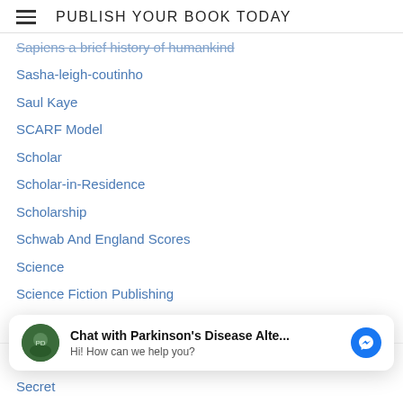PUBLISH YOUR BOOK TODAY
Sapiens a brief history of humankind
Sasha-leigh-coutinho
Saul Kaye
SCARF Model
Scholar
Scholar-in-Residence
Scholarship
Schwab And England Scores
Science
Science Fiction Publishing
Scleroderma
Scots-gaelic-scotland
S-d-stewart
Sea Level
[Figure (screenshot): Chat widget: Chat with Parkinson's Disease Alte... Hi! How can we help you? with Messenger icon]
Second Nexus Blog
Secret